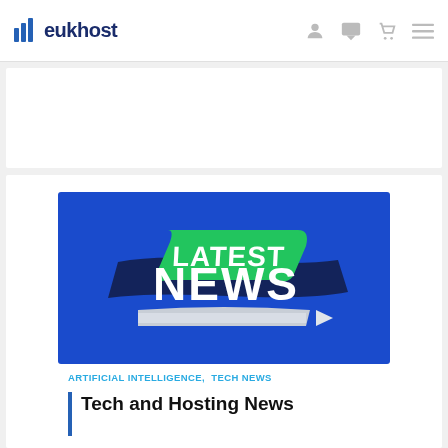eukhost
[Figure (illustration): Latest News graphic on blue background with green ribbon and arrow, bold white text 'LATEST NEWS']
ARTIFICIAL INTELLIGENCE, TECH NEWS
Tech and Hosting News